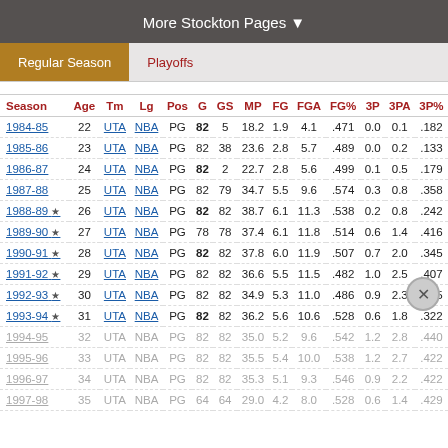More Stockton Pages ▼
Regular Season | Playoffs
| Season | Age | Tm | Lg | Pos | G | GS | MP | FG | FGA | FG% | 3P | 3PA | 3P% |
| --- | --- | --- | --- | --- | --- | --- | --- | --- | --- | --- | --- | --- | --- |
| 1984-85 | 22 | UTA | NBA | PG | 82 | 5 | 18.2 | 1.9 | 4.1 | .471 | 0.0 | 0.1 | .182 |
| 1985-86 | 23 | UTA | NBA | PG | 82 | 38 | 23.6 | 2.8 | 5.7 | .489 | 0.0 | 0.2 | .133 |
| 1986-87 | 24 | UTA | NBA | PG | 82 | 2 | 22.7 | 2.8 | 5.6 | .499 | 0.1 | 0.5 | .179 |
| 1987-88 | 25 | UTA | NBA | PG | 82 | 79 | 34.7 | 5.5 | 9.6 | .574 | 0.3 | 0.8 | .358 |
| 1988-89 ★ | 26 | UTA | NBA | PG | 82 | 82 | 38.7 | 6.1 | 11.3 | .538 | 0.2 | 0.8 | .242 |
| 1989-90 ★ | 27 | UTA | NBA | PG | 78 | 78 | 37.4 | 6.1 | 11.8 | .514 | 0.6 | 1.4 | .416 |
| 1990-91 ★ | 28 | UTA | NBA | PG | 82 | 82 | 37.8 | 6.0 | 11.9 | .507 | 0.7 | 2.0 | .345 |
| 1991-92 ★ | 29 | UTA | NBA | PG | 82 | 82 | 36.6 | 5.5 | 11.5 | .482 | 1.0 | 2.5 | .407 |
| 1992-93 ★ | 30 | UTA | NBA | PG | 82 | 82 | 34.9 | 5.3 | 11.0 | .486 | 0.9 | 2.3 | .395 |
| 1993-94 ★ | 31 | UTA | NBA | PG | 82 | 82 | 36.2 | 5.6 | 10.6 | .528 | 0.6 | 1.8 | .322 |
| 1994-95 | 32 | UTA | NBA | PG | 82 | 82 | 35.0 | 5.2 | 9.6 | .542 | 1.2 | 2.8 | .440 |
| 1995-96 | 33 | UTA | NBA | PG | 82 | 82 | 35.5 | 5.4 | 10.0 | .538 | 1.2 | 2.7 | .422 |
| 1996-97 | 34 | UTA | NBA | PG | 82 | 82 | 35.3 | 5.1 | 9.3 | .546 | 0.9 | 2.2 | .422 |
| 1997-98 | 35 | UTA | NBA | PG | 64 | 64 | 29.0 | 4.2 | 8.0 | .528 | 0.6 | 1.4 | .429 |